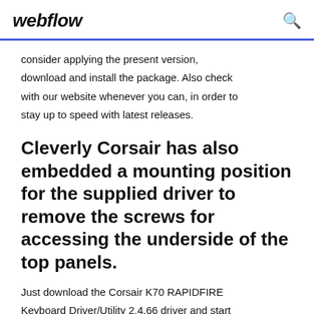webflow
consider applying the present version, download and install the package. Also check with our website whenever you can, in order to stay up to speed with latest releases.
Cleverly Corsair has also embedded a mounting position for the supplied driver to remove the screws for accessing the underside of the top panels.
Just download the Corsair K70 RAPIDFIRE Keyboard Driver/Utility 2.4.66 driver and start the installation (keeping in mind that the